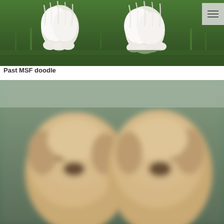[Figure (photo): White fluffy dog paws on green grass/moss background, close-up shot]
Past MSF doodle
[Figure (photo): Two blurry golden/tan colored dogs or puppies facing forward, close-up blurred photo]